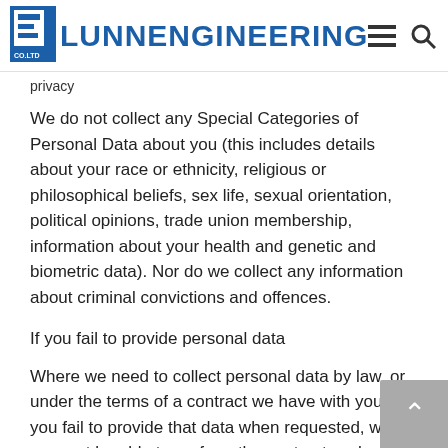LUNN ENGINEERING CO.LTD
privacy
We do not collect any Special Categories of Personal Data about you (this includes details about your race or ethnicity, religious or philosophical beliefs, sex life, sexual orientation, political opinions, trade union membership, information about your health and genetic and biometric data). Nor do we collect any information about criminal convictions and offences.
If you fail to provide personal data
Where we need to collect personal data by law, or under the terms of a contract we have with you and you fail to provide that data when requested, we may not be able to perform the contract we have or are trying to enter into with you (for example, to provide you with goods or